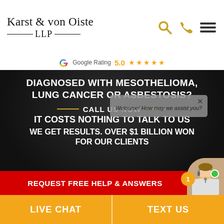[Figure (logo): Karst & von Oiste LLP law firm logo with serif text]
[Figure (screenshot): Google Rating 5.0 with five orange stars]
[Figure (photo): Hero image with text: DIAGNOSED WITH MESOTHELIOMA, LUNG CANCER OR ASBESTOSIS? CALL US NOW IT COSTS NOTHING TO TALK TO US WE GET RESULTS. OVER $1 BILLION WON FOR OUR CLIENTS. Red button: REQUEST FREE HELP & ANSWERS. Chat popup: Welcome! How may we assist you?]
LIVE CHAT
TEXT US